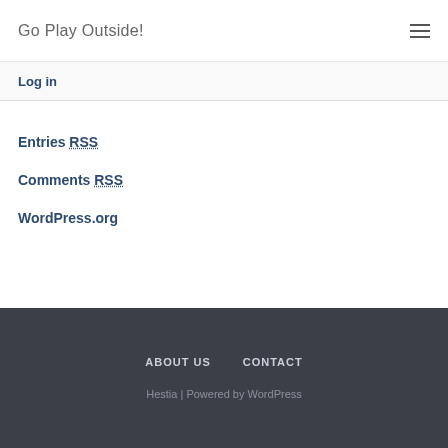Go Play Outside!
Log in
Entries RSS
Comments RSS
WordPress.org
ABOUT US   CONTACT   Hestia | Powered by WordPress